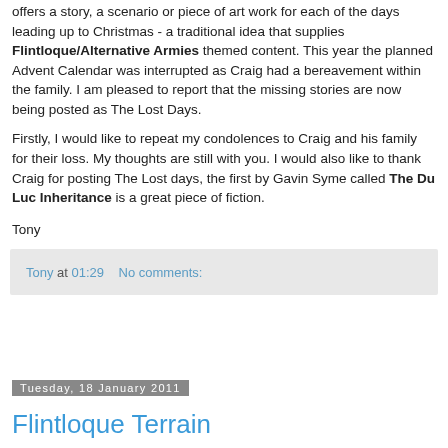offers a story, a scenario or piece of art work for each of the days leading up to Christmas - a traditional idea that supplies Flintloque/Alternative Armies themed content. This year the planned Advent Calendar was interrupted as Craig had a bereavement within the family. I am pleased to report that the missing stories are now being posted as The Lost Days.
Firstly, I would like to repeat my condolences to Craig and his family for their loss. My thoughts are still with you. I would also like to thank Craig for posting The Lost days, the first by Gavin Syme called The Du Luc Inheritance is a great piece of fiction.
Tony
Tony at 01:29    No comments:
Tuesday, 18 January 2011
Flintloque Terrain